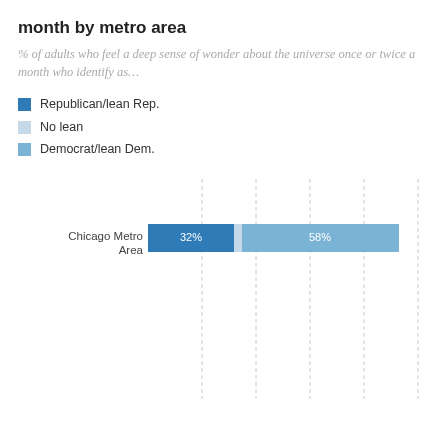month by metro area
% of adults who feel a deep sense of wonder about the universe once or twice a month who identify as…
Republican/lean Rep.
No lean
Democrat/lean Dem.
[Figure (stacked-bar-chart): month by metro area]